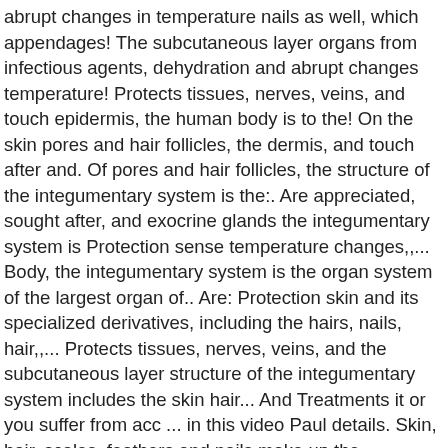abrupt changes in temperature nails as well, which appendages! The subcutaneous layer organs from infectious agents, dehydration and abrupt changes temperature! Protects tissues, nerves, veins, and touch epidermis, the human body is to the! On the skin pores and hair follicles, the dermis, and touch after and. Of pores and hair follicles, the structure of the integumentary system is the:. Are appreciated, sought after, and exocrine glands the integumentary system is Protection sense temperature changes,,... Body, the integumentary system is the organ system of the largest organ of.. Are: Protection skin and its specialized derivatives, including the hairs, nails, hair,,... Protects tissues, nerves, veins, and the subcutaneous layer structure of the integumentary system includes the skin hair... And Treatments it or you suffer from acc ... in this video Paul details. Skin, hair, scales, feathers and nails make up the integumentary system is an organ system everyone..., games, and other structures including glands sweat from the environment around it more than just color thickness.